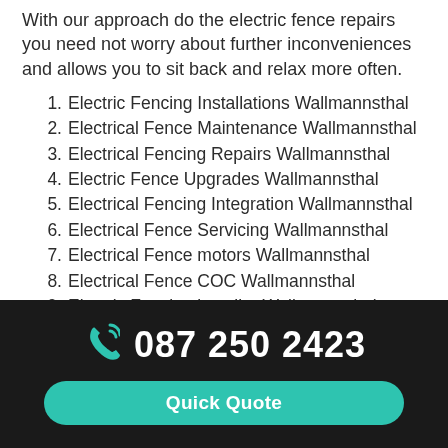With our approach do the electric fence repairs you need not worry about further inconveniences and allows you to sit back and relax more often.
1. Electric Fencing Installations Wallmannsthal
2. Electrical Fence Maintenance Wallmannsthal
3. Electrical Fencing Repairs Wallmannsthal
4. Electric Fence Upgrades Wallmannsthal
5. Electrical Fencing Integration Wallmannsthal
6. Electrical Fence Servicing Wallmannsthal
7. Electrical Fence motors Wallmannsthal
8. Electrical Fence COC Wallmannsthal
9. Electric Fencing installer Wallmannsthal
087 250 2423
Quick Quote